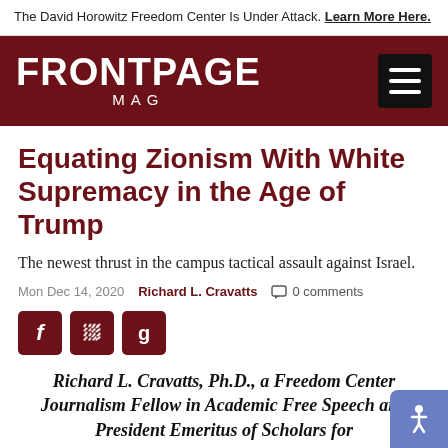The David Horowitz Freedom Center Is Under Attack. Learn More Here.
[Figure (logo): FrontPage Mag logo — white bold text on dark red background with hamburger menu icon]
Equating Zionism With White Supremacy in the Age of Trump
The newest thrust in the campus tactical assault against Israel.
Mon Dec 14, 2020   Richard L. Cravatts   0 comments
[Figure (infographic): Three dark red social sharing icon buttons: f (Facebook), P (Parler), g (Gab)]
Richard L. Cravatts, Ph.D., a Freedom Center Journalism Fellow in Academic Free Speech and President Emeritus of Scholars for